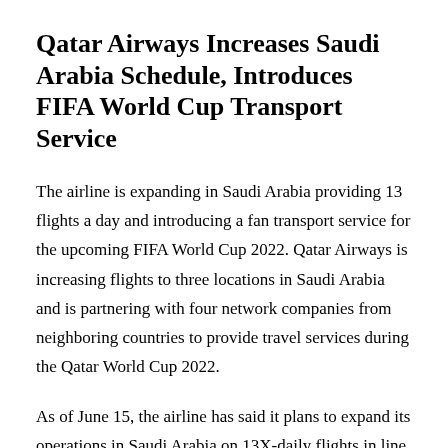Qatar Airways Increases Saudi Arabia Schedule, Introduces FIFA World Cup Transport Service
The airline is expanding in Saudi Arabia providing 13 flights a day and introducing a fan transport service for the upcoming FIFA World Cup 2022. Qatar Airways is increasing flights to three locations in Saudi Arabia and is partnering with four network companies from neighboring countries to provide travel services during the Qatar World Cup 2022.
As of June 15, the airline has said it plans to expand its operations in Saudi Arabia on 13X-daily flights in line with Qatar's ongoing efforts to expand business and